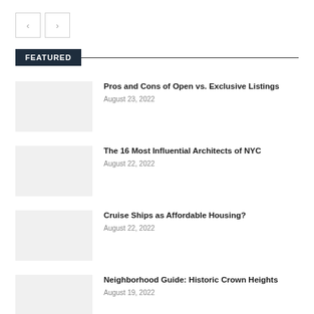FEATURED
Pros and Cons of Open vs. Exclusive Listings | August 23, 2022
The 16 Most Influential Architects of NYC | August 22, 2022
Cruise Ships as Affordable Housing? | August 22, 2022
Neighborhood Guide: Historic Crown Heights | August 19, 2022